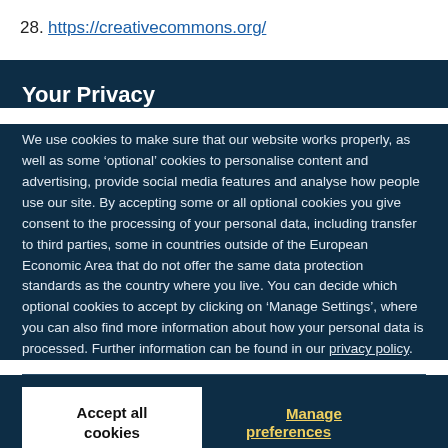28.  https://creativecommons.org/
Your Privacy
We use cookies to make sure that our website works properly, as well as some ‘optional’ cookies to personalise content and advertising, provide social media features and analyse how people use our site. By accepting some or all optional cookies you give consent to the processing of your personal data, including transfer to third parties, some in countries outside of the European Economic Area that do not offer the same data protection standards as the country where you live. You can decide which optional cookies to accept by clicking on ‘Manage Settings’, where you can also find more information about how your personal data is processed. Further information can be found in our privacy policy.
Accept all cookies
Manage preferences